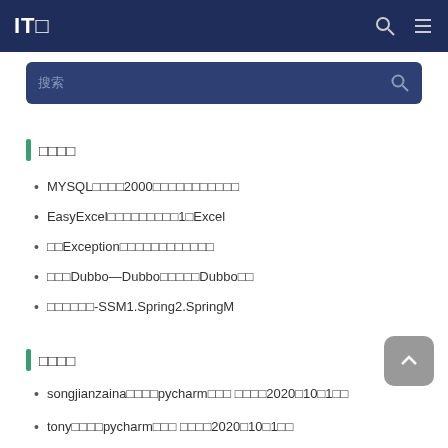IT□
搜索
□□□□
MYSQL□□□□2000□□□□□□□□□□□
EasyExcel□□□□□□□□□1□Excel
□□Exception□□□□□□□□□□□□
□□□Dubbo—Dubbo□□□□□Dubbo□□
□□□□□□-SSM1.Spring2.SpringM
□□□□
songjianzaina□□□□pycharm□□□ □□□□2020□10□1□□
tony□□□□pycharm□□□ □□□□2020□10□1□□